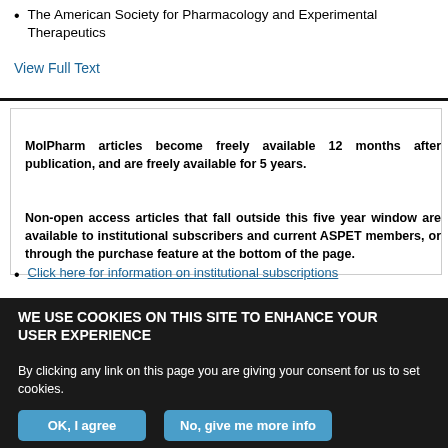The American Society for Pharmacology and Experimental Therapeutics
View Full Text
MolPharm articles become freely available 12 months after publication, and are freely available for 5 years.
Non-open access articles that fall outside this five year window are available to institutional subscribers and current ASPET members, or through the purchase feature at the bottom of the page.
Click here for information on institutional subscriptions
WE USE COOKIES ON THIS SITE TO ENHANCE YOUR USER EXPERIENCE
By clicking any link on this page you are giving your consent for us to set cookies.
OK, I agree
No, give me more info